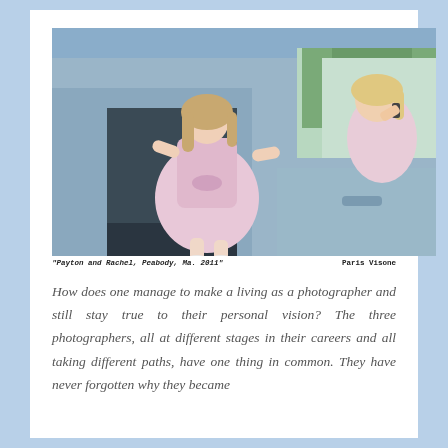[Figure (photo): A young girl in a pink dress stepping out of a minivan, with a woman visible through the window on the right talking on a phone.]
"Payton and Rachel, Peabody, Ma. 2011"    Paris Visone
How does one manage to make a living as a photographer and still stay true to their personal vision? The three photographers, all at different stages in their careers and all taking different paths, have one thing in common. They have never forgotten why they became